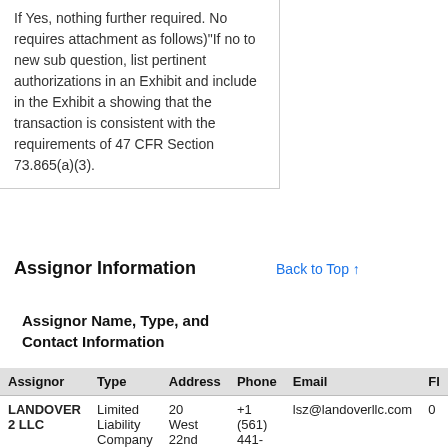If Yes, nothing further required. No requires attachment as follows)"If no to new sub question, list pertinent authorizations in an Exhibit and include in the Exhibit a showing that the transaction is consistent with the requirements of 47 CFR Section 73.865(a)(3).
Assignor Information
Back to Top ↑
Assignor Name, Type, and Contact Information
| Assignor | Type | Address | Phone | Email | Fl |
| --- | --- | --- | --- | --- | --- |
| LANDOVER 2 LLC | Limited Liability Company | 20 West 22nd Street Str... | +1 (561) 441-7998 | lsz@landoverllc.com | 0 |